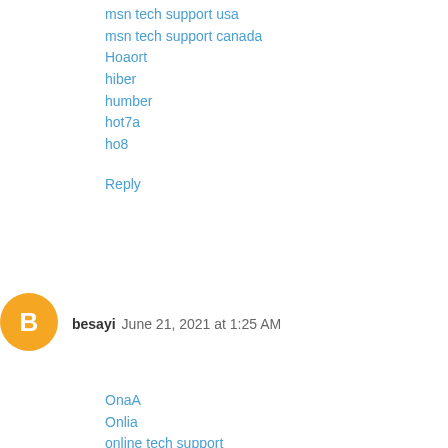msn tech support usa
msn tech support canada
Hoaort
hiber
humber
hot7a
ho8
Reply
[Figure (illustration): Orange circular blogger avatar icon with white letter B]
besayi   June 21, 2021 at 1:25 AM
OnaA
Onlia
online tech support
online tech experts
on0a
onlada
online tech experts usa
Quicr
roadr
rimber